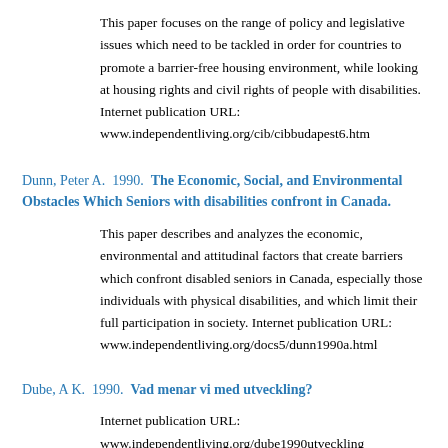This paper focuses on the range of policy and legislative issues which need to be tackled in order for countries to promote a barrier-free housing environment, while looking at housing rights and civil rights of people with disabilities. Internet publication URL: www.independentliving.org/cib/cibbudapest6.htm
Dunn, Peter A.  1990.  The Economic, Social, and Environmental Obstacles Which Seniors with disabilities confront in Canada.
This paper describes and analyzes the economic, environmental and attitudinal factors that create barriers which confront disabled seniors in Canada, especially those individuals with physical disabilities, and which limit their full participation in society. Internet publication URL: www.independentliving.org/docs5/dunn1990a.html
Dube, A K.  1990.  Vad menar vi med utveckling?
Internet publication URL: www.independentliving.org/dube1990utveckling